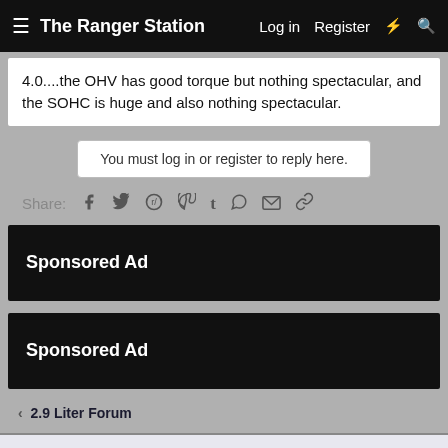The Ranger Station  Log in  Register
4.0....the OHV has good torque but nothing spectacular, and the SOHC is huge and also nothing spectacular.
You must log in or register to reply here.
Share:
Sponsored Ad
Sponsored Ad
< 2.9 Liter Forum
This site uses cookies to help personalise content, tailor your experience and to keep you logged in if you register.
By continuing to use this site, you are consenting to our use of cookies.